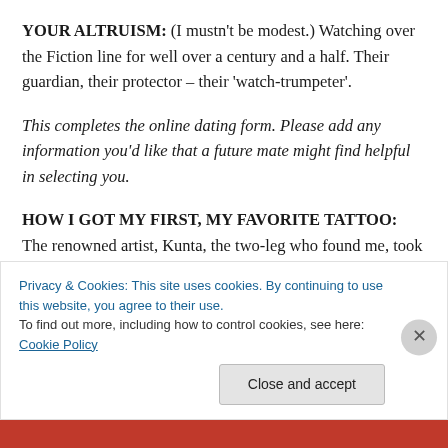YOUR ALTRUISM: (I mustn't be modest.) Watching over the Fiction line for well over a century and a half. Their guardian, their protector – their 'watch-trumpeter'.
This completes the online dating form. Please add any information you'd like that a future mate might find helpful in selecting you.
HOW I GOT MY FIRST, MY FAVORITE TATTOO: The renowned artist, Kunta, the two-leg who found me, took me in, carved his African village into me when I was a
Privacy & Cookies: This site uses cookies. By continuing to use this website, you agree to their use.
To find out more, including how to control cookies, see here: Cookie Policy
Close and accept